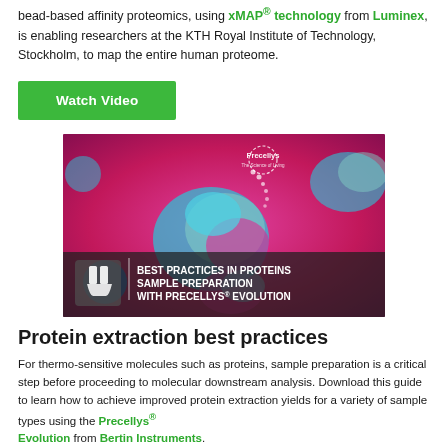bead-based affinity proteomics, using xMAP® technology from Luminex, is enabling researchers at the KTH Royal Institute of Technology, Stockholm, to map the entire human proteome.
Watch Video
[Figure (photo): Video thumbnail showing colorful microscopy-style image of proteins/molecules with text overlay reading 'BEST PRACTICES IN PROTEINS SAMPLE PREPARATION WITH PRECELLYS® EVOLUTION' and Precellys logo]
Protein extraction best practices
For thermo-sensitive molecules such as proteins, sample preparation is a critical step before proceeding to molecular downstream analysis. Download this guide to learn how to achieve improved protein extraction yields for a variety of sample types using the Precellys® Evolution from Bertin Instruments.